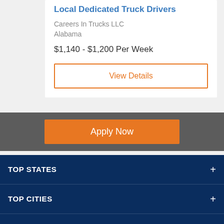Local Dedicated Truck Drivers
Careers In Trucks LLC
Alabama
$1,140 - $1,200 Per Week
View Details
Apply Now
TOP STATES
TOP CITIES
CLASSADRIVERS